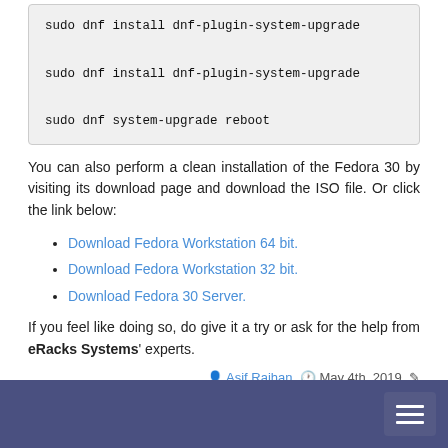sudo dnf install dnf-plugin-system-upgrade

sudo dnf install dnf-plugin-system-upgrade

sudo dnf system-upgrade reboot
You can also perform a clean installation of the Fedora 30 by visiting its download page and download the ISO file. Or click the link below:
Download Fedora Workstation 64 bit.
Download Fedora Workstation 32 bit.
Download Fedora 30 Server.
If you feel like doing so, do give it a try or ask for the help from eRacks Systems' experts.
Asif Raihan  May 4th, 2019
Posted In: Fedora, Linux, New products, News, Open Source, Operating Systems, Upgrades
Tags: fedora, linux, New products, Open Source, Red Hat